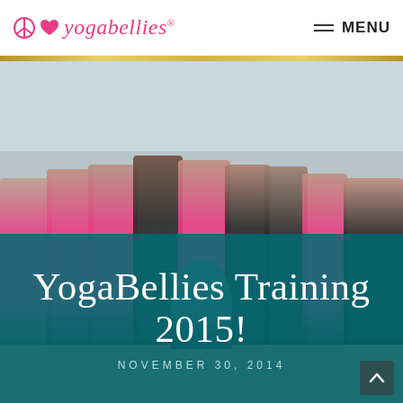[Figure (logo): YogaBellies logo with peace sign and heart icons in pink, followed by text 'yogabellies' in pink italic serif font with registered trademark symbol]
[Figure (photo): Group photo of approximately 10 women in pink and dark gray t-shirts reading 'YogaBellies' and 'ROCKS', standing in a yoga studio. One person sits in lotus position in front.]
YogaBellies Training 2015!
NOVEMBER 30, 2014